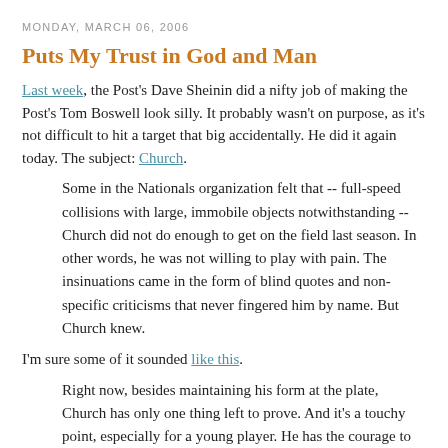MONDAY, MARCH 06, 2006
Puts My Trust in God and Man
Last week, the Post's Dave Sheinin did a nifty job of making the Post's Tom Boswell look silly. It probably wasn't on purpose, as it's not difficult to hit a target that big accidentally. He did it again today. The subject: Church.
Some in the Nationals organization felt that -- full-speed collisions with large, immobile objects notwithstanding -- Church did not do enough to get on the field last season. In other words, he was not willing to play with pain. The insinuations came in the form of blind quotes and non-specific criticisms that never fingered him by name. But Church knew.
I'm sure some of it sounded like this.
Right now, besides maintaining his form at the plate, Church has only one thing left to prove. And it's a touchy point, especially for a young player. He has the courage to make a play like the wall bash in Pittsburgh. But yesterday, with his name on the lineup card, he didn't play because his chest was still bruised from the collision. "No chance. I can't lift my arm above my shoulder."